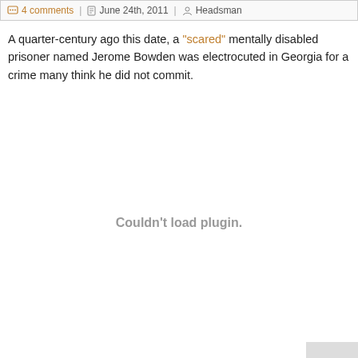4 comments | June 24th, 2011 | Headsman
A quarter-century ago this date, a "scared" mentally disabled prisoner named Jerome Bowden was electrocuted in Georgia for a crime many think he did not commit.
Couldn't load plugin.